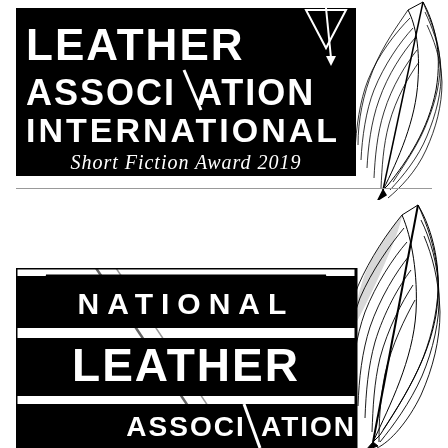[Figure (logo): Leather Association International Short Fiction Award 2019 logo - black rectangle with white text and feather quill pen graphic]
[Figure (logo): National Leather Association logo - black and white text with feather quill pen graphic, bottom half showing NATIONAL LEATHER ASSOCIATION text]